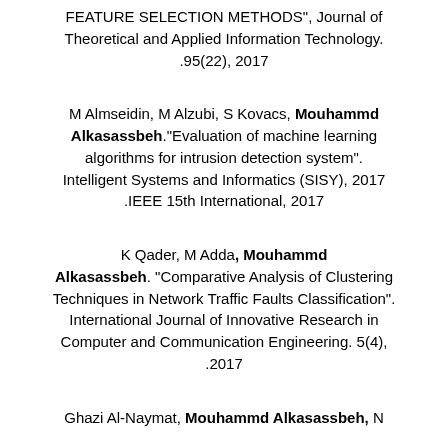FEATURE SELECTION METHODS", Journal of Theoretical and Applied Information Technology. .95(22), 2017
M Almseidin, M Alzubi, S Kovacs, Mouhammd Alkasassbeh."Evaluation of machine learning algorithms for intrusion detection system". Intelligent Systems and Informatics (SISY), 2017 .IEEE 15th International, 2017
K Qader, M Adda, Mouhammd Alkasassbeh. "Comparative Analysis of Clustering Techniques in Network Traffic Faults Classification". International Journal of Innovative Research in Computer and Communication Engineering. 5(4), .2017
Ghazi Al-Naymat, Mouhammd Alkasassbeh, N